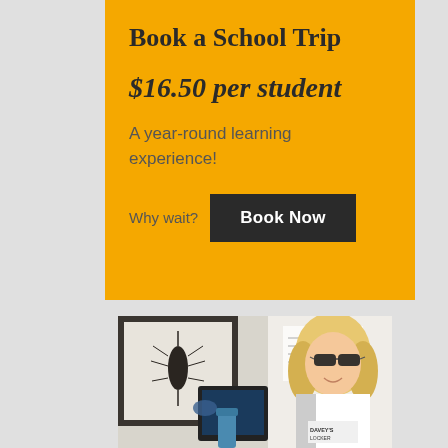Book a School Trip
$16.50 per student
A year-round learning experience!
Why wait?  Book Now
[Figure (photo): A smiling blonde woman with sunglasses at a desk with a tablet and marine science artwork (zooplankton illustration) in the background, wearing a Davey's Locker shirt]